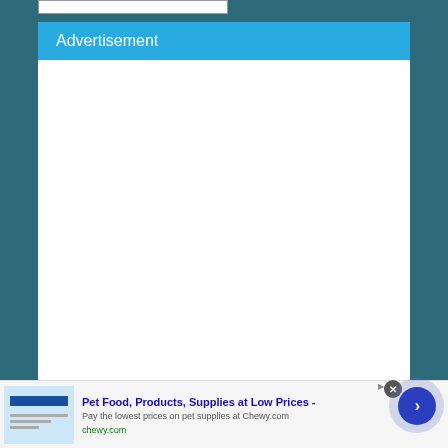Advertisement
[Figure (screenshot): Bottom advertisement strip for Chewy.com: Pet Food, Products, Supplies at Low Prices - Pay the lowest prices on pet supplies at Chewy.com]
Pet Food, Products, Supplies at Low Prices -
Pay the lowest prices on pet supplies at Chewy.com
chewy.com